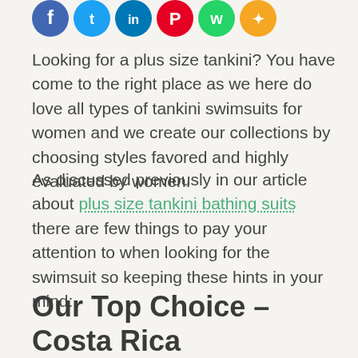[Figure (other): Row of social media sharing icons: Facebook (blue), Twitter (light blue), LinkedIn (dark blue), Pinterest (red), WhatsApp (green), Share (orange)]
Looking for a plus size tankini? You have come to the right place as we here do love all types of tankini swimsuits for women and we create our collections by choosing styles favored and highly evaluated by women.
As discussed previously in our article about plus size tankini bathing suits there are few things to pay your attention to when looking for the swimsuit so keeping these hints in your mind:
Our Top Choice – Costa Rica